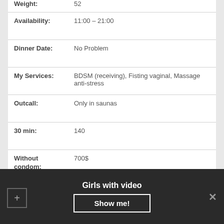| Field | Value |
| --- | --- |
| Weight: | 52 |
| Availability: | 11:00 – 21:00 |
| Dinner Date: | No Problem |
| My Services: | BDSM (receiving), Fisting vaginal, Massage anti-stress |
| Outcall: | Only in saunas |
| 30 min: | 140 |
| Without condom: | 700$ |
| Ethnic Group: | Estonian |
See phone number
Girls with video
Show me!